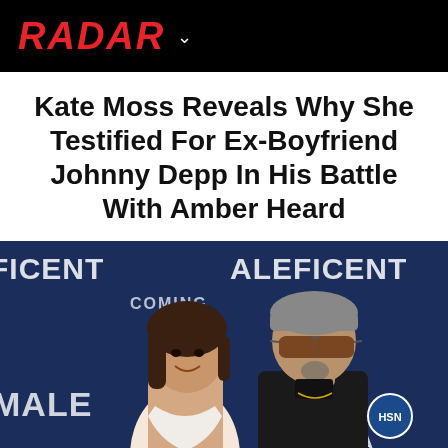RADAR
Kate Moss Reveals Why She Testified For Ex-Boyfriend Johnny Depp In His Battle With Amber Heard
[Figure (photo): Two celebrities posing on a blue Maleficent movie premiere red carpet backdrop. A woman with dark hair in a white dress on the left, smiling, and a man with slicked-back hair wearing sunglasses and a black suit on the right. The background shows 'MALEFICENT' logos repeated.]